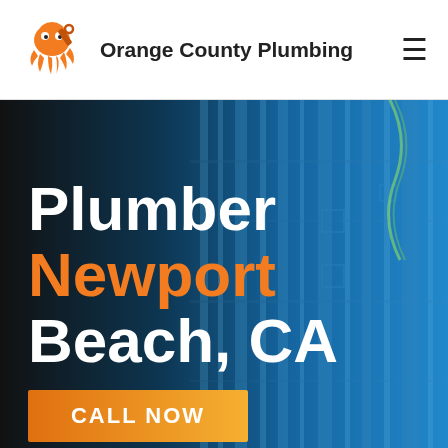[Figure (logo): Orange cartoon octopus logo icon for Orange County Plumbing]
Orange County Plumbing
[Figure (screenshot): Website hero section with dark-to-blue gradient background showing industrial plumbing pipes]
Plumber Newport Beach, CA
CALL NOW